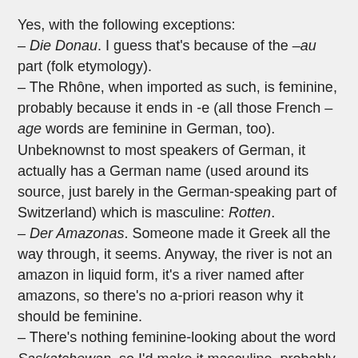Yes, with the following exceptions:
– Die Donau. I guess that's because of the –au part (folk etymology).
– The Rhône, when imported as such, is feminine, probably because it ends in -e (all those French –age words are feminine in German, too). Unbeknownst to most speakers of German, it actually has a German name (used around its source, just barely in the German-speaking part of Switzerland) which is masculine: Rotten.
– Der Amazonas. Someone made it Greek all the way through, it seems. Anyway, the river is not an amazon in liquid form, it's a river named after amazons, so there's no a-priori reason why it should be feminine.
– There's nothing feminine-looking about the word Saskatchewan, so I'd make it masculine, probably by default: der Fluss, der Bach, more poetically der Strom. That's also done to Mississippi*, Missouri, Ohio and Yukon.
– That default I just mentioned isn't that universal either, though. I didn't guess that the Kamp, a river in